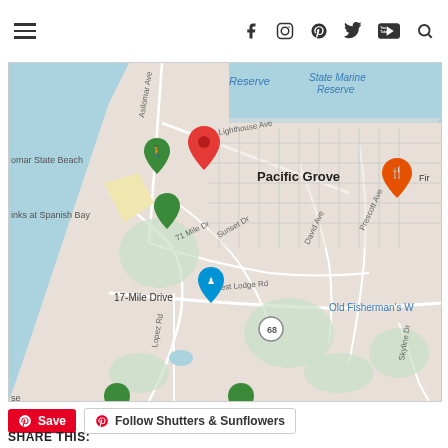Navigation header with hamburger menu, Facebook, Instagram, Pinterest, Twitter, YouTube, Search icons
[Figure (map): Google Maps view showing Pacific Grove area, Monterey Peninsula. Labels include: Reserve, State Marine Reserve, Asilomar Ave, Lighthouse Ave, Pacific Grove, Asilomar State Beach, Links at Spanish Bay, 17-Mile Drive, 71 Mile Dr, Sunset Dr, David Ave, Prescott Ave, Forest Lodge Rd, Old Fisherman's W, Del Monte Forest, Poppy Hills Golf Course, Lopez Rd, Skyline Dr, Route 68. Map markers include red location pin, green hiking icons, blue castle icon, orange restaurant icon.]
Save   Follow Shutters & Sunflowers
SHARE THIS: